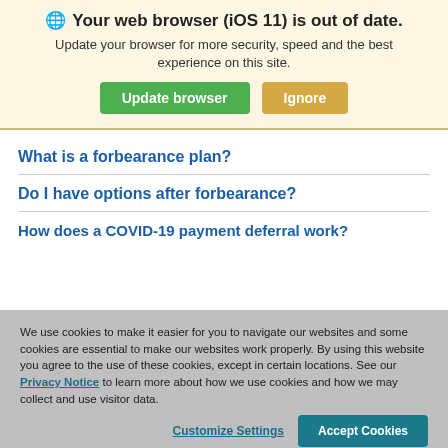Your web browser (iOS 11) is out of date.
Update your browser for more security, speed and the best experience on this site.
Update browser | Ignore
What is a forbearance plan?
Do I have options after forbearance?
How does a COVID-19 payment deferral work?
We use cookies to make it easier for you to navigate our websites and some cookies are essential to make our websites work properly. By using this website you agree to the use of these cookies, except in certain locations. See our Privacy Notice to learn more about how we use cookies and how we may collect and use visitor data.
Customize Settings | Accept Cookies